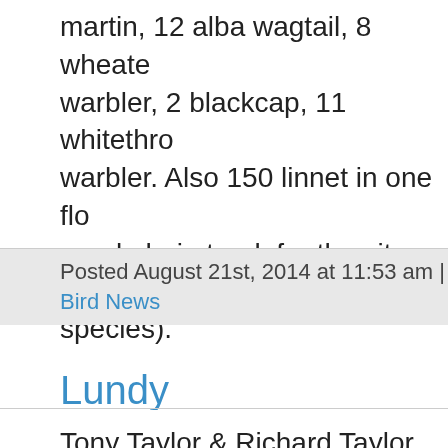martin, 12 alba wagtail, 8 wheatear warbler, 2 blackcap, 11 whitethroat warbler. Also 150 linnet in one flock, purple hairstreak for the site (now species).
Posted August 21st, 2014 at 11:53 am Bird News
Lundy
Tony Taylor & Richard Taylor, currently on island to ring shearwater chicks, juvenile Rose-coloured Starling